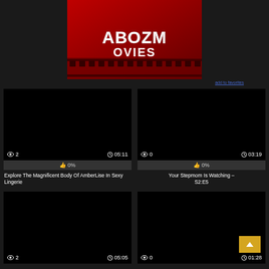[Figure (logo): AbozMovies logo on red background with film strip]
add to favorites
[Figure (screenshot): Black video thumbnail, 2 views, duration 05:11, 0% rating, title: Explore The Magnificent Body Of AmberLise In Sexy Lingerie]
[Figure (screenshot): Black video thumbnail, 0 views, duration 03:19, 0% rating, title: Your Stepmom Is Watching – S2:E5]
[Figure (screenshot): Black video thumbnail, 2 views, duration 05:05]
[Figure (screenshot): Black video thumbnail, 0 views, duration 01:28, gold up arrow button overlay]